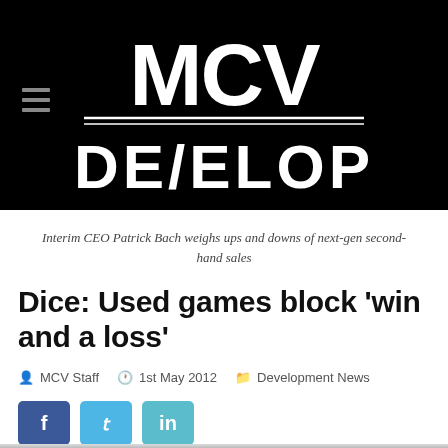[Figure (logo): MCV DEVELOP logo in white on black background with hamburger menu icon]
Interim CEO Patrick Bach weighs ups and downs of next-gen second-hand sales
Dice: Used games block 'win and a loss'
MCV Staff  1st May 2012  Development News
[Figure (other): Social share buttons: Facebook (blue), Twitter (light blue), LinkedIn (teal)]